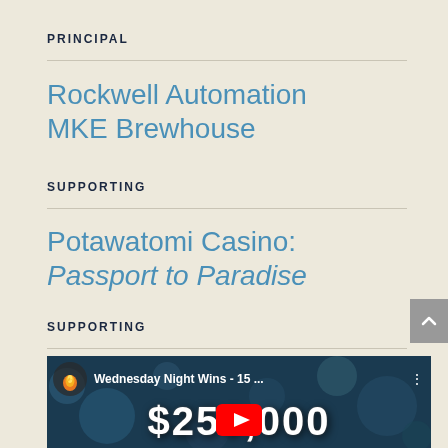PRINCIPAL
Rockwell Automation MKE Brewhouse
SUPPORTING
Potawatomi Casino: Passport to Paradise
SUPPORTING
[Figure (screenshot): YouTube video thumbnail showing 'Wednesday Night Wins - 15 ...' with a fire logo icon, and large text '$250,000' overlaid on a casino-themed background with a YouTube play button in the center.]